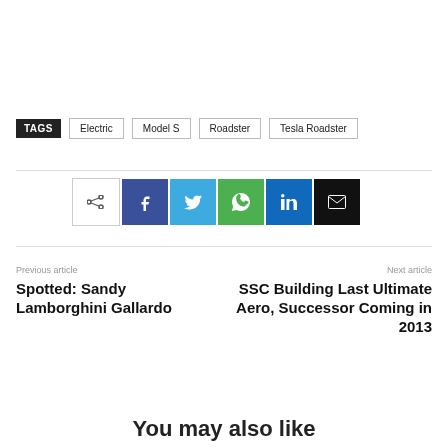TAGS   Electric   Model S   Roadster   Tesla Roadster
[Figure (other): Social share buttons: share icon outline, Facebook, Twitter, WhatsApp, LinkedIn, Email]
Previous article
Spotted: Sandy Lamborghini Gallardo
Next article
SSC Building Last Ultimate Aero, Successor Coming in 2013
You may also like